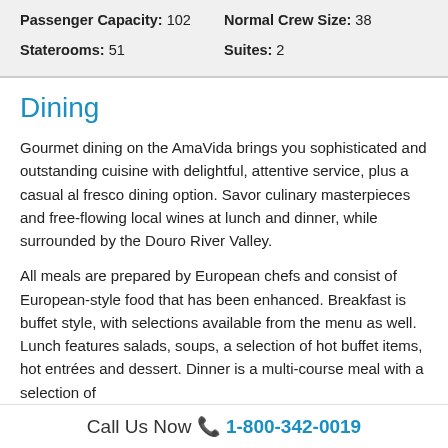Passenger Capacity: 102   Normal Crew Size: 38
Staterooms: 51   Suites: 2
Dining
Gourmet dining on the AmaVida brings you sophisticated and outstanding cuisine with delightful, attentive service, plus a casual al fresco dining option. Savor culinary masterpieces and free-flowing local wines at lunch and dinner, while surrounded by the Douro River Valley.
All meals are prepared by European chefs and consist of European-style food that has been enhanced. Breakfast is buffet style, with selections available from the menu as well.  Lunch features salads, soups, a selection of hot buffet items, hot entrées and dessert. Dinner is a multi-course meal with a selection of
Call Us Now 📞 1-800-342-0019